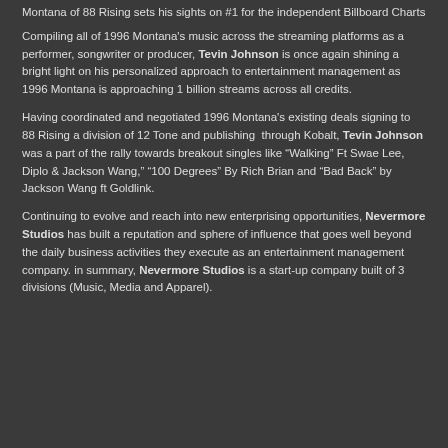Montana of 88 Rising sets his sights on #1 for the independent Billboard Charts
Compiling all of 1996 Montana’s music across the streaming platforms as a performer, songwriter or producer, Tevin Johnson is once again shining a bright light on his personalized approach to entertainment management as 1996 Montana is approaching 1 billion streams across all credits.
Having coordinated and negotiated 1996 Montana’s existing deals signing to 88 Rising a division of 12 Tone and publishing through Kobalt, Tevin Johnson was a part of the rally towards breakout singles like “Walking” Ft Swae Lee, Diplo & Jackson Wang,” “100 Degrees” By Rich Brian and “Bad Back” by Jackson Wang ft Goldlink.
Continuing to evolve and reach into new enterprising opportunities, Nevermore Studios has built a reputation and sphere of influence that goes well beyond the daily business activities they execute as an entertainment management company. in summary, Nevermore Studios is a start-up company built of 3 divisions (Music, Media and Apparel).